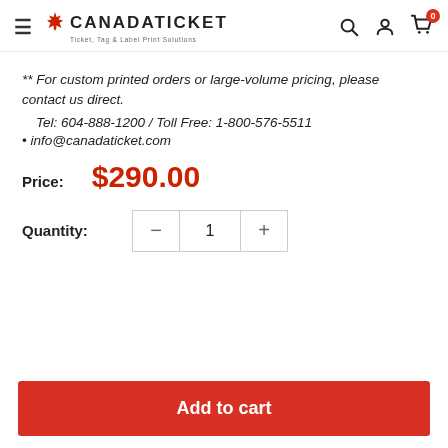Canada Ticket – Ticket, Tag & Label Print Solutions
** For custom printed orders or large-volume pricing, please contact us direct.
    Tel: 604-888-1200 / Toll Free: 1-800-576-5511
• info@canadaticket.com
Price: $290.00
Quantity: 1
Add to cart